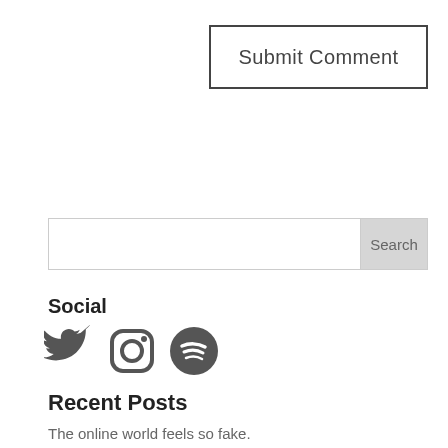Submit Comment
[Figure (screenshot): Search bar with text input field and Search button]
Social
[Figure (illustration): Social media icons: Twitter bird, Instagram camera, Spotify logo — all in dark gray]
Recent Posts
The online world feels so fake.
Don't wait for an invitation.